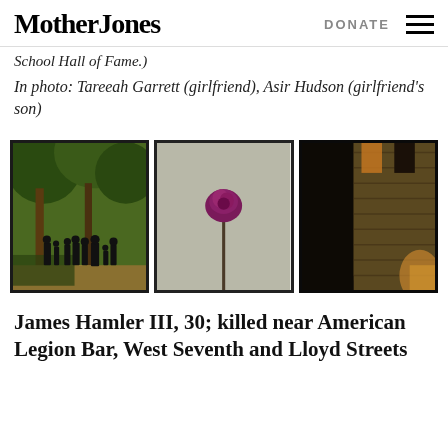Mother Jones | DONATE ☰
School Hall of Fame.)
In photo: Tareeah Garrett (girlfriend), Asir Hudson (girlfriend's son)
[Figure (photo): Three photos side by side: left shows group of people standing in a wooded park from behind; center shows a single purple flower/rose on a gray background; right shows a building exterior at night with warm lighting.]
James Hamler III, 30; killed near American Legion Bar, West Seventh and Lloyd Streets